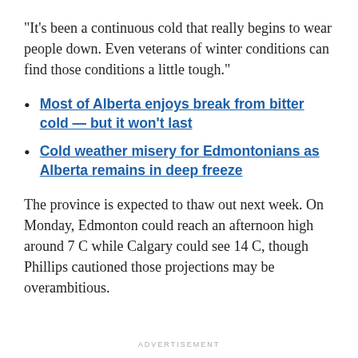"It's been a continuous cold that really begins to wear people down. Even veterans of winter conditions can find those conditions a little tough."
Most of Alberta enjoys break from bitter cold — but it won't last
Cold weather misery for Edmontonians as Alberta remains in deep freeze
The province is expected to thaw out next week. On Monday, Edmonton could reach an afternoon high around 7 C while Calgary could see 14 C, though Phillips cautioned those projections may be overambitious.
ADVERTISEMENT